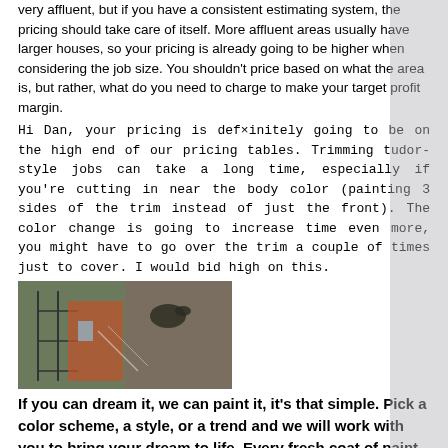very affluent, but if you have a consistent estimating system, the pricing should take care of itself. More affluent areas usually have larger houses, so your pricing is already going to be higher when considering the job size. You shouldn't price based on what the area is, but rather, what do you need to charge to make your target profit margin.
Hi Dan, your pricing is definitely going to be on the high end of our pricing tables. Trimming tudor-style jobs can take a long time, especially if you're cutting in near the body color (painting 3 sides of the trim instead of just the front). The color change is going to increase time even more, you might have to go over the trim a couple of times just to cover. I would bid high on this.
[Figure (photo): A photo showing exterior painting work, appears to show scaffolding or ladder near a building exterior with some painting equipment visible.]
If you can dream it, we can paint it, it's that simple. Pick a color scheme, a style, or a trend and we will work with you to bring your dream to life. Every fresh coat of paint is a step towards transforming your home into the style you choose. Need inspiration? take a look at our exterior painting ideas as well as our interior painting ideas. You can also see pictures of homes our painters have already done. Broomfield House Painting
Prepping a house costs anywhere from $0.50 to $2.50 per square foot. This is almost always included in the total project price. However, the DIYer might negotiate some discounts for completing this work on their own. Be warned, proper prep is key to the quality and durability of the